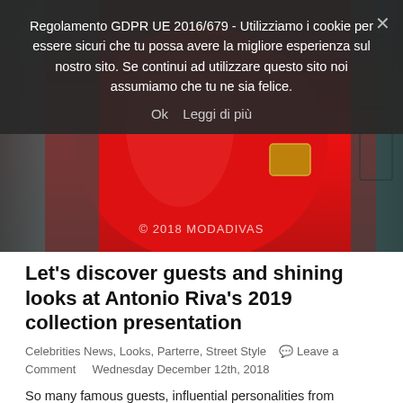[Figure (photo): Woman in red dress photographed from torso, in front of dark teal door, holding gold clutch. Copyright 2018 MODADIVAS watermark visible.]
Regolamento GDPR UE 2016/679 - Utilizziamo i cookie per essere sicuri che tu possa avere la migliore esperienza sul nostro sito. Se continui ad utilizzare questo sito noi assumiamo che tu ne sia felice.
Ok   Leggi di più
Let’s discover guests and shining looks at Antonio Riva’s 2019 collection presentation
Celebrities News, Looks, Parterre, Street Style   💬 Leave a Comment     Wednesday December 12th, 2018
So many famous guests, influential personalities from